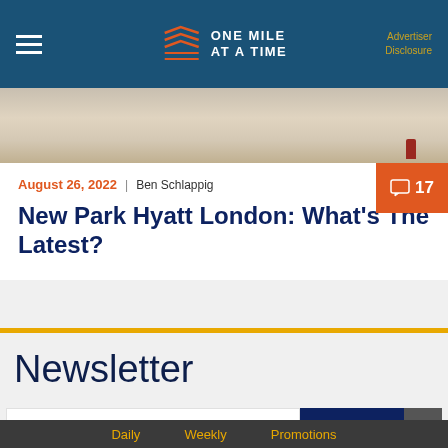ONE MILE AT A TIME | Advertiser Disclosure
[Figure (photo): Hero image strip showing a sandy/beach scene with a small figure in red]
August 26, 2022 | Ben Schlappig
New Park Hyatt London: What's The Latest?
Newsletter
Email Address
SUBSCRIBE
Daily  Weekly  Promotions